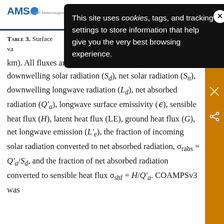AMS
This site uses cookies, tags, and tracking settings to store information that help give you the very best browsing experience.
TABLE 3. Surface ... LT, for a va... 25 km). All fluxes are in W m⁻². Listed quantities include: downwelling solar radiation (S_d), net solar radiation (S_n), downwelling longwave radiation (L_d), net absorbed radiation (Q′_a), longwave surface emissivity (ε), sensible heat flux (H), latent heat flux (LE), ground heat flux (G), net longwave emission (L′_e), the fraction of incoming solar radiation converted to net absorbed radiation, σ_rabs = Q′_a/S_d, and the fraction of net absorbed radiation converted to sensible heat flux σ_shf = H/Q′_a. COAMPSv3 was